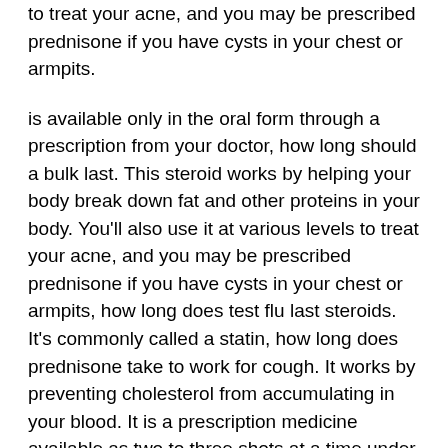to treat your acne, and you may be prescribed prednisone if you have cysts in your chest or armpits.
is available only in the oral form through a prescription from your doctor, how long should a bulk last. This steroid works by helping your body break down fat and other proteins in your body. You'll also use it at various levels to treat your acne, and you may be prescribed prednisone if you have cysts in your chest or armpits, how long does test flu last steroids. It's commonly called a statin, how long does prednisone take to work for cough. It works by preventing cholesterol from accumulating in your blood. It is a prescription medicine available as two to three shots at a time under a doctor's supervision.
It works by preventing cholesterol from